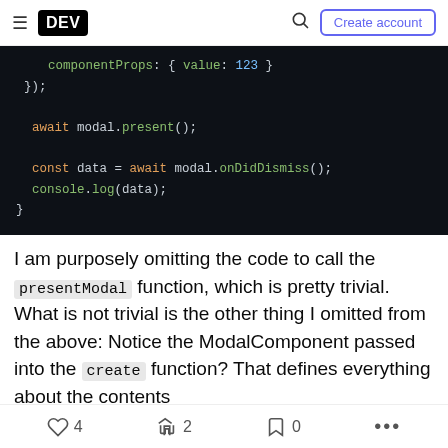DEV — Create account
[Figure (screenshot): Dark-themed code block showing JavaScript: componentProps: { value: 123 }, }); await modal.present(); const data = await modal.onDidDismiss(); console.log(data); }]
I am purposely omitting the code to call the presentModal function, which is pretty trivial. What is not trivial is the other thing I omitted from the above: Notice the ModalComponent passed into the create function? That defines everything about the contents
4 likes, 2 reactions, 0 saves